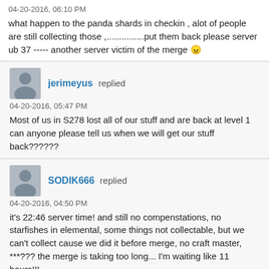04-20-2016, 06:10 PM
what happen to the panda shards in checkin , alot of people are still collecting those ,...............put them back please server ub 37 ----- another server victim of the merge 😠
jerimeyus replied
04-20-2016, 05:47 PM
Most of us in S278 lost all of our stuff and are back at level 1 can anyone please tell us when we will get our stuff back??????
SODIK666 replied
04-20-2016, 04:50 PM
it's 22:46 server time! and still no compenstations, no starfishes in elemental, some things not collectable, but we can't collect cause we did it before merge, no craft master, ***??? the merge is taking too long... I'm waiting like 11 hours!!!
RemilronStaff replied